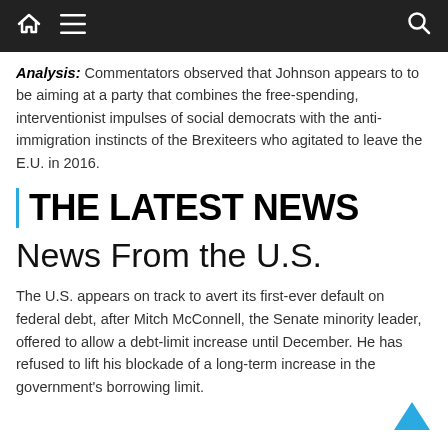Navigation bar with home, menu, and search icons
Analysis: Commentators observed that Johnson appears to to be aiming at a party that combines the free-spending, interventionist impulses of social democrats with the anti-immigration instincts of the Brexiteers who agitated to leave the E.U. in 2016.
THE LATEST NEWS
News From the U.S.
The U.S. appears on track to avert its first-ever default on federal debt, after Mitch McConnell, the Senate minority leader, offered to allow a debt-limit increase until December. He has refused to lift his blockade of a long-term increase in the government's borrowing limit.